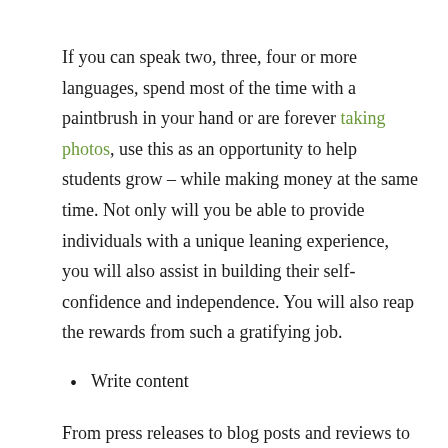If you can speak two, three, four or more languages, spend most of the time with a paintbrush in your hand or are forever taking photos, use this as an opportunity to help students grow – while making money at the same time. Not only will you be able to provide individuals with a unique leaning experience, you will also assist in building their self-confidence and independence. You will also reap the rewards from such a gratifying job.
Write content
From press releases to blog posts and reviews to speeches, if the written word comes easily to you, start charging when you put pen to paper! As a